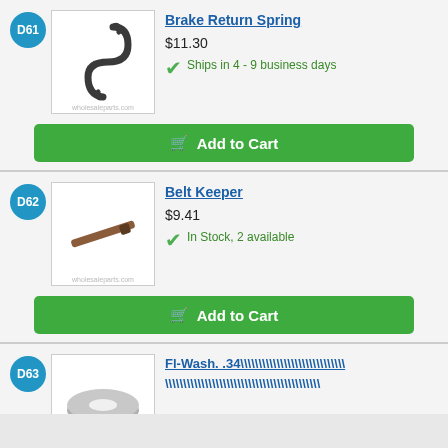[Figure (photo): Brake return spring - curved dark metal spring shape]
Brake Return Spring
$11.30
Ships in 4 - 9 business days
Add to Cart
[Figure (photo): Belt Keeper - thin metal rod/bolt part]
Belt Keeper
$9.41
In Stock, 2 available
Add to Cart
[Figure (photo): Fl-Wash .34 - partial view of a flat washer part]
Fl-Wash. .34